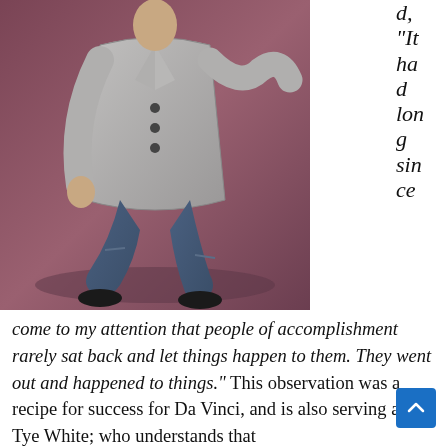[Figure (photo): A person wearing a grey overcoat and distressed jeans, crouching against a mauve/purple wall, wearing black dress shoes.]
d, "It had long since come to my attention that people of accomplishment rarely sat back and let things happen to them. They went out and happened to things." This observation was a recipe for success for Da Vinci, and is also serving actor Tye White; who understands that ambition is the key to achievement.